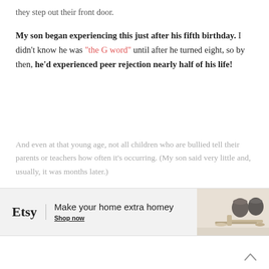they step out their front door.
My son began experiencing this just after his fifth birthday. I didn't know he was "the G word" until after he turned eight, so by then, he'd experienced peer rejection nearly half of his life!
And even at that young age, not all children who are bullied tell their parents or teachers how often it's occurring. (My son said very little and, usually, it was months later.)
[Figure (other): Etsy advertisement banner: 'Make your home extra homey - Shop now' with image of mugs and kitchen items on a marble surface]